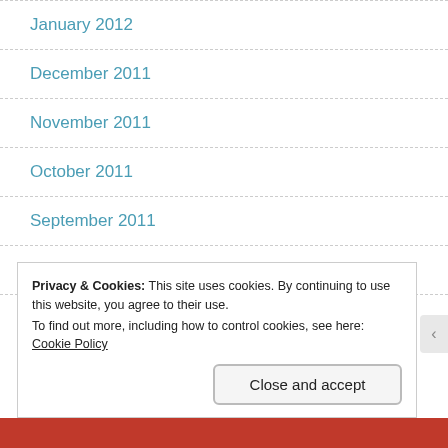January 2012
December 2011
November 2011
October 2011
September 2011
August 2011
July 2011
Privacy & Cookies: This site uses cookies. By continuing to use this website, you agree to their use.
To find out more, including how to control cookies, see here: Cookie Policy
Close and accept